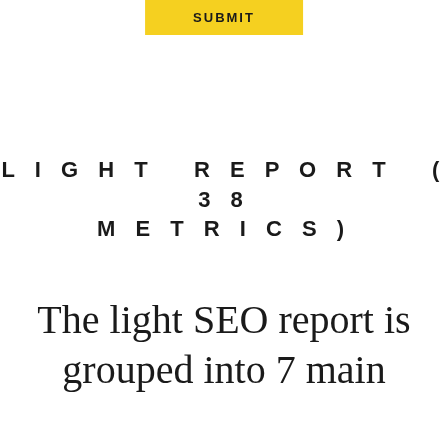[Figure (other): Yellow SUBMIT button]
LIGHT REPORT (38 METRICS)
The light SEO report is grouped into 7 main